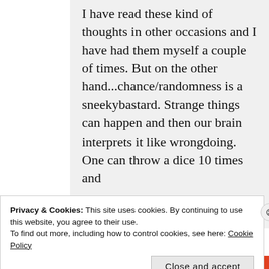I have read these kind of thoughts in other occasions and I have had them myself a couple of times. But on the other hand...chance/randomness is a sneekybastard. Strange things can happen and then our brain interprets it like wrongdoing. One can throw a dice 10 times and
Privacy & Cookies: This site uses cookies. By continuing to use this website, you agree to their use.
To find out more, including how to control cookies, see here: Cookie Policy